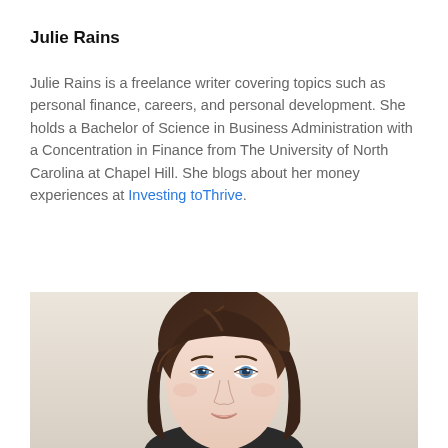Julie Rains
Julie Rains is a freelance writer covering topics such as personal finance, careers, and personal development. She holds a Bachelor of Science in Business Administration with a Concentration in Finance from The University of North Carolina at Chapel Hill. She blogs about her money experiences at Investing toThrive.
[Figure (photo): Headshot photo of Julie Rains, a woman with long dark brown hair and blue eyes, photographed against a light background.]